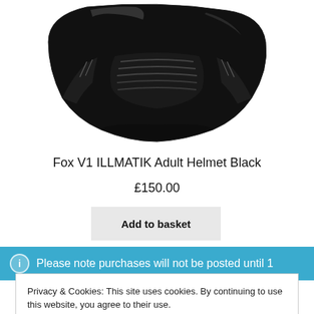[Figure (photo): Black Fox V1 ILLMATIK adult motorcycle helmet, viewed from below/front angle, showing the dark visor and vented chin area on white background.]
Fox V1 ILLMATIK Adult Helmet Black
£150.00
Add to basket
Please note purchases will not be posted until 1
Privacy & Cookies: This site uses cookies. By continuing to use this website, you agree to their use.
To find out more, including how to control cookies, see here: Cookie Policy
Close and accept